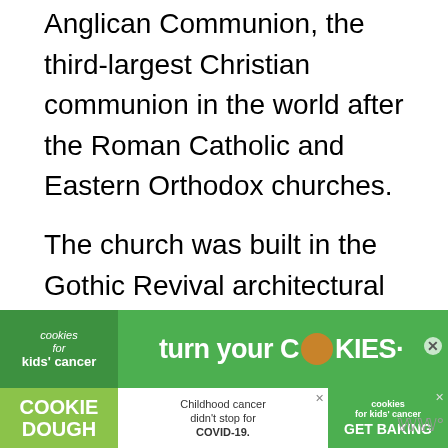Anglican Communion, the third-largest Christian communion in the world after the Roman Catholic and Eastern Orthodox churches.
The church was built in the Gothic Revival architectural style and is located between the Champs-Élysées and the River Seine in the 8th arrondissement of the city. The most remarkable feature of the structure is the spire which reaches a height of 85 meters (280 feet), quite high because the church only has a length of 45 meters (146 feet).
[Figure (screenshot): Social media sidebar with heart/like button showing count of 2, and share button]
[Figure (screenshot): What's Next panel showing a thumbnail image and text 'Top 10 Interesting...']
[Figure (screenshot): Advertisement banner for Cookies for Kids' Cancer showing 'turn your Cookies into a CURE' and 'Childhood cancer didn't stop for COVID-19. GET BAKING']